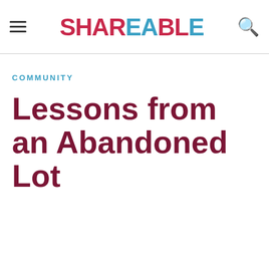Shareable
COMMUNITY
Lessons from an Abandoned Lot